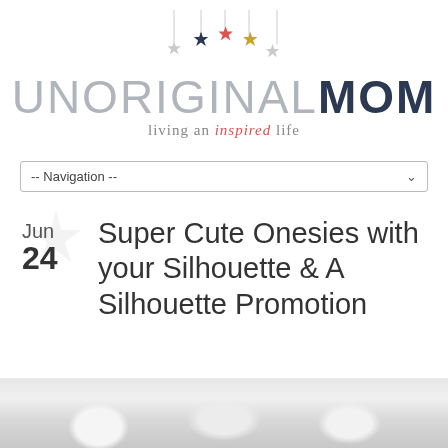[Figure (logo): UnoriginalMom blog logo with hanging stars decoration and tagline 'living an inspired life']
-- Navigation --
Super Cute Onesies with your Silhouette & A Silhouette Promotion
[Figure (photo): Partial photo of baby onesies/clothing items at bottom of page]